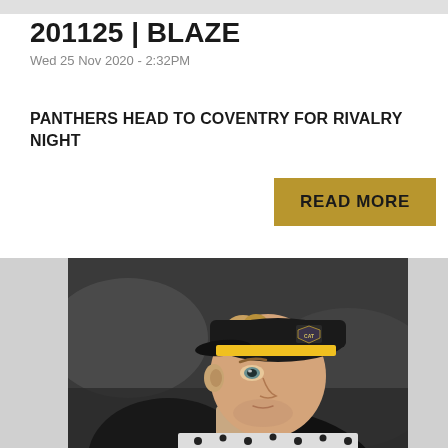201125 | BLAZE
Wed 25 Nov 2020 - 2:32PM
PANTHERS HEAD TO COVENTRY FOR RIVALRY NIGHT
READ MORE
[Figure (photo): Close-up photo of a hockey player wearing a black cap with a Panthers logo and a yellow headband, looking to the side.]